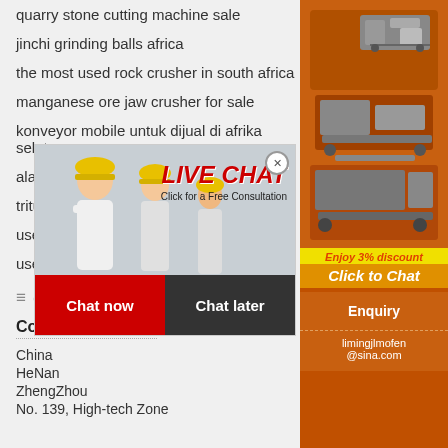quarry stone cutting machine sale
jinchi grinding balls africa
the most used rock crusher in south africa
manganese ore jaw crusher for sale
konveyor mobile untuk dijual di afrika selatan
alaska gold mining claims for lease
tritura
used
used
[Figure (infographic): Live Chat popup with workers in hard hats, 'LIVE CHAT' text, 'Click for a Free Consultation', Chat now and Chat later buttons]
[Figure (infographic): Orange sidebar with mining equipment images, Enjoy 3% discount, Click to Chat, Enquiry, limingjlmofen@sina.com]
Contact Info
Company Address
China
HeNan
ZhengZhou
No. 139, High-tech Zone